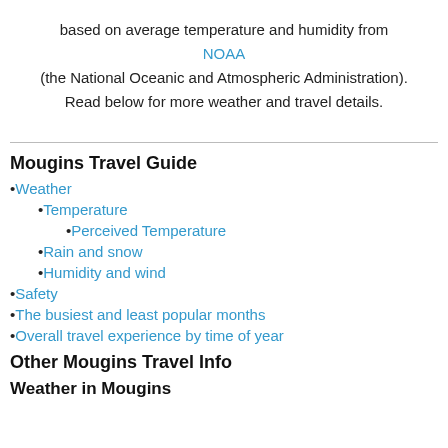based on average temperature and humidity from NOAA (the National Oceanic and Atmospheric Administration). Read below for more weather and travel details.
Mougins Travel Guide
Weather
Temperature
Perceived Temperature
Rain and snow
Humidity and wind
Safety
The busiest and least popular months
Overall travel experience by time of year
Other Mougins Travel Info
Weather in Mougins